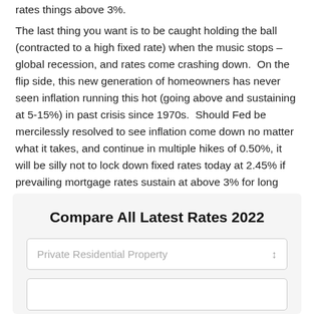rates things above 3%.
The last thing you want is to be caught holding the ball (contracted to a high fixed rate) when the music stops – global recession, and rates come crashing down.  On the flip side, this new generation of homeowners has never seen inflation running this hot (going above and sustaining at 5-15%) in past crisis since 1970s.  Should Fed be mercilessly resolved to see inflation come down no matter what it takes, and continue in multiple hikes of 0.50%, it will be silly not to lock down fixed rates today at 2.45% if prevailing mortgage rates sustain at above 3% for long periods in a stagflation scenario.
Compare All Latest Rates 2022